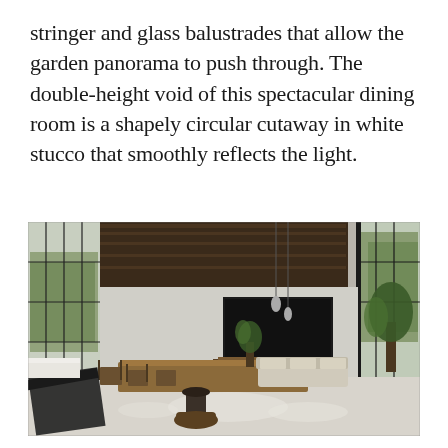stringer and glass balustrades that allow the garden panorama to push through. The double-height void of this spectacular dining room is a shapely circular cutaway in white stucco that smoothly reflects the light.
[Figure (photo): Interior architectural render of a modern open-plan living and dining space with floor-to-ceiling black-framed glazing overlooking a green garden. Warm wood panelling on the ceiling and walls, a large rectangular dining table with wooden chairs, a sofa, and indoor plants. The space features a double-height volume with pendant lights and a black wall-mounted feature fireplace/TV unit.]